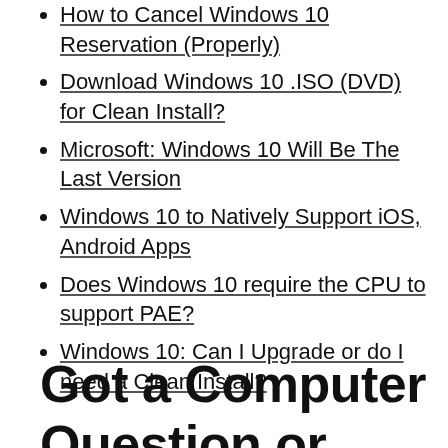How to Cancel Windows 10 Reservation (Properly)
Download Windows 10 .ISO (DVD) for Clean Install?
Microsoft: Windows 10 Will Be The Last Version
Windows 10 to Natively Support iOS, Android Apps
Does Windows 10 require the CPU to support PAE?
Windows 10: Can I Upgrade or do I need a Clean Install?
Got a Computer Question or Problem? Ask